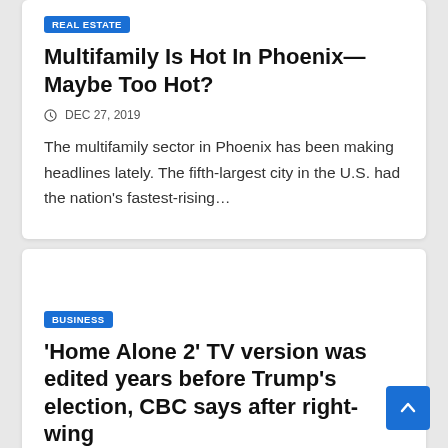REAL ESTATE
Multifamily Is Hot In Phoenix—Maybe Too Hot?
DEC 27, 2019
The multifamily sector in Phoenix has been making headlines lately. The fifth-largest city in the U.S. had the nation's fastest-rising…
BUSINESS
'Home Alone 2' TV version was edited years before Trump's election, CBC says after right-wing